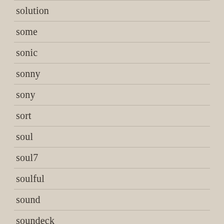solution
some
sonic
sonny
sony
sort
soul
soul7
soulful
sound
soundeck
soundgarden
sounds
soundtrack
source